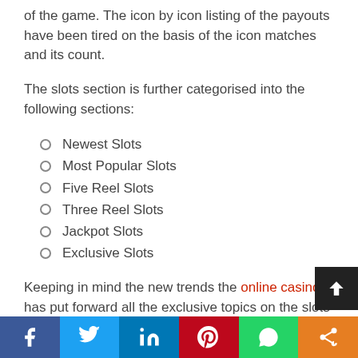of the game. The icon by icon listing of the payouts have been tired on the basis of the icon matches and its count.
The slots section is further categorised into the following sections:
Newest Slots
Most Popular Slots
Five Reel Slots
Three Reel Slots
Jackpot Slots
Exclusive Slots
Keeping in mind the new trends the online casino has put forward all the exclusive topics on the slots section, wherein you get to see Zombie FC, Cricket Legends, A night with CEO, Animal Wild and many more. There are so many slots that you get flared